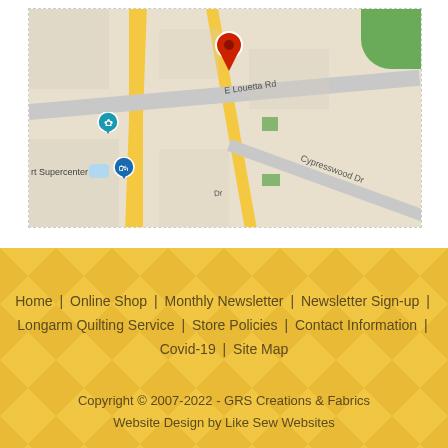[Figure (map): Google Maps screenshot showing location of GRS Creations & Fabrics with a red pin marker. Map shows surrounding area including Hurricane Harbor Splashtown, Walmart Supercenter, E Louetta Rd, Cypresswood Dr. The business listing reads 'GRS Creations & Fabrics - Fabric shop boasting a large supply'.]
Home | Online Shop | Monthly Newsletter | Newsletter Sign-up | Longarm Quilting Service | Store Policies | Contact Information | Covid-19 | Site Map
Copyright © 2007-2022 - GRS Creations & Fabrics
Website Design by Like Sew Websites